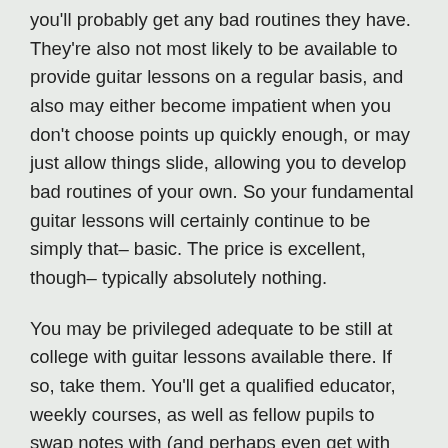you'll probably get any bad routines they have. They're also not most likely to be available to provide guitar lessons on a regular basis, and also may either become impatient when you don't choose points up quickly enough, or may just allow things slide, allowing you to develop bad routines of your own. So your fundamental guitar lessons will certainly continue to be simply that– basic. The price is excellent, though– typically absolutely nothing.
You may be privileged adequate to be still at college with guitar lessons available there. If so, take them. You'll get a qualified educator, weekly courses, as well as fellow pupils to swap notes with (and perhaps even get with each other to have fun with!) after your guitar lessons.